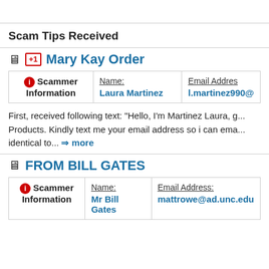Scam Tips Received
Mary Kay Order
|  | Name: | Email Address: |
| --- | --- | --- |
| Scammer Information | Laura Martinez | l.martinez990@ |
First, received following text: "Hello, I'm Martinez Laura, g... Products. Kindly text me your email address so i can ema... identical to... ⇒ more
FROM BILL GATES
|  | Name: | Email Address: |
| --- | --- | --- |
| Scammer Information | Mr Bill Gates | mattrowe@ad.unc.edu |